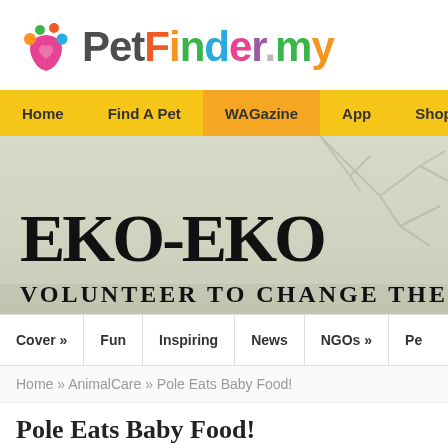[Figure (logo): PetFinder.my logo with colorful paw print icon and multi-colored text]
Home  Find A Pet  WAGazine  App  Shop
[Figure (photo): EKO-EKO VOLUNTEER TO CHANGE THE banner image with nature background showing bare branches]
Cover »  Fun  Inspiring  News  NGOs »  Pe
Home » AnimalCare » Pole Eats Baby Food!
Pole Eats Baby Food!